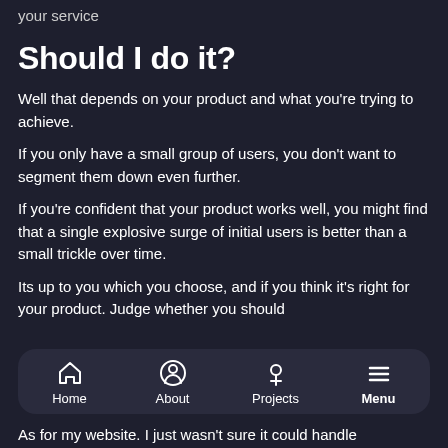your service
Should I do it?
Well that depends on your product and what you're trying to achieve.
If you only have a small group of users, you don't want to segment them down even further.
If you're confident that your product works well, you might find that a single explosive surge of initial users is better than a small trickle over time.
Its up to you which you choose, and if you think it's right for your product. Judge whether you should
[Figure (screenshot): Mobile app navigation bar with icons for Home, About, Projects, and Menu (bold). Dark rounded rectangle background.]
As for my website. I just wasn't sure it could handle